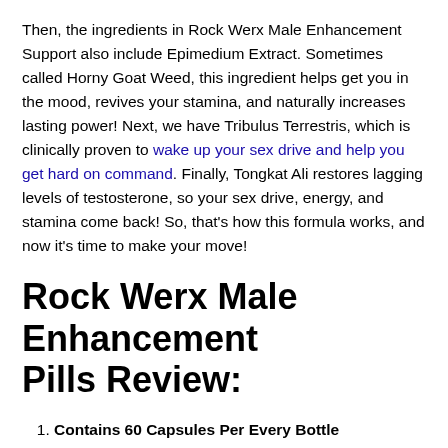Then, the ingredients in Rock Werx Male Enhancement Support also include Epimedium Extract. Sometimes called Horny Goat Weed, this ingredient helps get you in the mood, revives your stamina, and naturally increases lasting power! Next, we have Tribulus Terrestris, which is clinically proven to wake up your sex drive and help you get hard on command. Finally, Tongkat Ali restores lagging levels of testosterone, so your sex drive, energy, and stamina come back! So, that's how this formula works, and now it's time to make your move!
Rock Werx Male Enhancement Pills Review:
Contains 60 Capsules Per Every Bottle